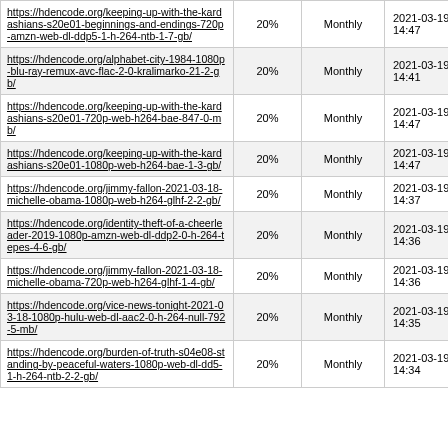| https://hdencode.org/keeping-up-with-the-kardashians-s20e01-beginnings-and-endings-720p-amzn-web-dl-ddp5-1-h-264-ntb-1-7-gb/ | 20% | Monthly | 2021-03-19 14:47 |
| https://hdencode.org/alphabet-city-1984-1080p-blu-ray-remux-avc-flac-2-0-kralimarko-21-2-gb/ | 20% | Monthly | 2021-03-19 14:41 |
| https://hdencode.org/keeping-up-with-the-kardashians-s20e01-720p-web-h264-bae-847-0-mb/ | 20% | Monthly | 2021-03-19 14:47 |
| https://hdencode.org/keeping-up-with-the-kardashians-s20e01-1080p-web-h264-bae-1-3-gb/ | 20% | Monthly | 2021-03-19 14:47 |
| https://hdencode.org/jimmy-fallon-2021-03-18-michelle-obama-1080p-web-h264-glhf-2-2-gb/ | 20% | Monthly | 2021-03-19 14:37 |
| https://hdencode.org/identity-theft-of-a-cheerleader-2019-1080p-amzn-web-dl-ddp2-0-h-264-tepes-4-6-gb/ | 20% | Monthly | 2021-03-19 14:36 |
| https://hdencode.org/jimmy-fallon-2021-03-18-michelle-obama-720p-web-h264-glhf-1-4-gb/ | 20% | Monthly | 2021-03-19 14:36 |
| https://hdencode.org/vice-news-tonight-2021-03-18-1080p-hulu-web-dl-aac2-0-h-264-null-792-5-mb/ | 20% | Monthly | 2021-03-19 14:35 |
| https://hdencode.org/burden-of-truth-s04e08-standing-by-peaceful-waters-1080p-web-dl-dd5-1-h-264-ntb-2-2-gb/ | 20% | Monthly | 2021-03-19 14:34 |